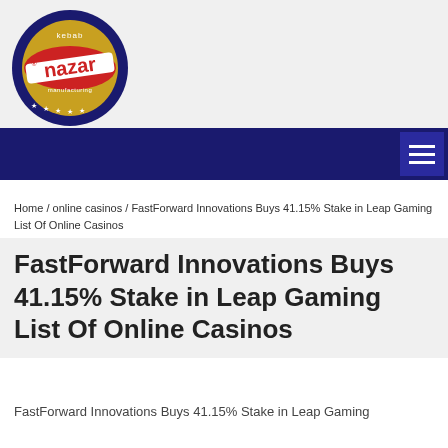[Figure (logo): Nazar Kebab Manufacturing circular logo with red, gold and dark blue colors, text 'kebab nazar manufacturing' with stars]
navigation bar with hamburger menu icon
Home / online casinos / FastForward Innovations Buys 41.15% Stake in Leap Gaming List Of Online Casinos
FastForward Innovations Buys 41.15% Stake in Leap Gaming List Of Online Casinos
FastForward Innovations Buys 41.15% Stake in Leap Gaming